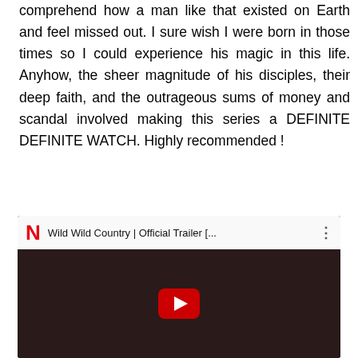comprehend how a man like that existed on Earth and feel missed out. I sure wish I were born in those times so I could experience his magic in this life. Anyhow, the sheer magnitude of his disciples, their deep faith, and the outrageous sums of money and scandal involved making this series a DEFINITE DEFINITE WATCH. Highly recommended !
[Figure (screenshot): YouTube video embed showing Netflix 'Wild Wild Country | Official Trailer [...]' with Netflix N logo, title, three-dot menu, and dark thumbnail with red YouTube play button.]